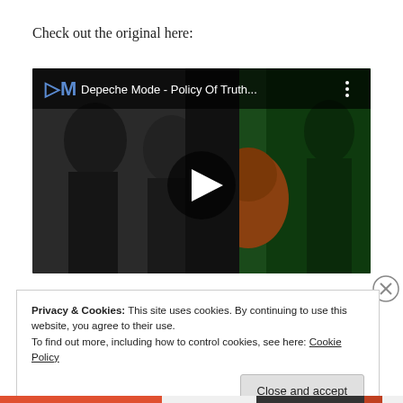Check out the original here:
[Figure (screenshot): YouTube video thumbnail for Depeche Mode - Policy Of Truth... showing black and white figures on left and a person with orange hair on right against green background, with a play button overlay and video title bar at top.]
Privacy & Cookies: This site uses cookies. By continuing to use this website, you agree to their use.
To find out more, including how to control cookies, see here: Cookie Policy
[Close and accept button]